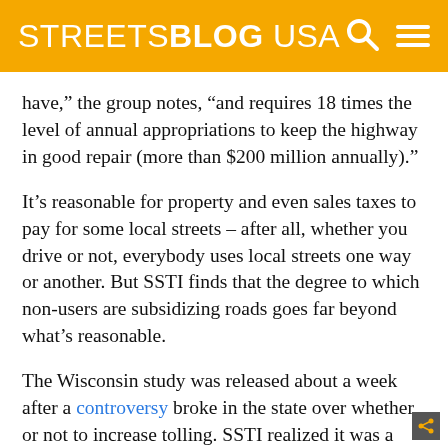STREETSBLOG USA
have,” the group notes, “and requires 18 times the level of annual appropriations to keep the highway in good repair (more than $200 million annually).”
It’s reasonable for property and even sales taxes to pay for some local streets – after all, whether you drive or not, everybody uses local streets one way or another. But SSTI finds that the degree to which non-users are subsidizing roads goes far beyond what’s reasonable.
The Wisconsin study was released about a week after a controversy broke in the state over whether or not to increase tolling. SSTI realized it was a ripe moment to inject some realism into the conversation about